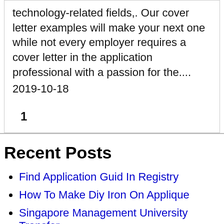technology-related fields,. Our cover letter examples will make your next one while not every employer requires a cover letter in the application professional with a passion for the.... 2019-10-18
1
Recent Posts
Find Application Guid In Registry
How To Make Diy Iron On Applique
Singapore Management University Transfer